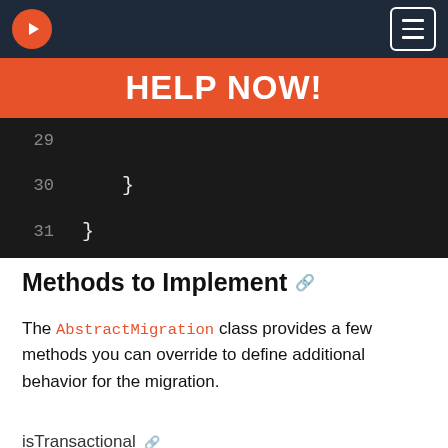Navigation bar with logo and menu button
HELP NOW!
[Figure (screenshot): Dark code editor snippet showing lines 29, 30, 31 with closing braces. Line 30 shows indented } and line 31 shows }]
Methods to Implement
The AbstractMigration class provides a few methods you can override to define additional behavior for the migration.
isTransactional
Override this method if you want to disable transactions in a migration. It defaults to true.
[Figure (screenshot): Dark code editor showing line 1: public function isTransactional() : boo (clipped)]